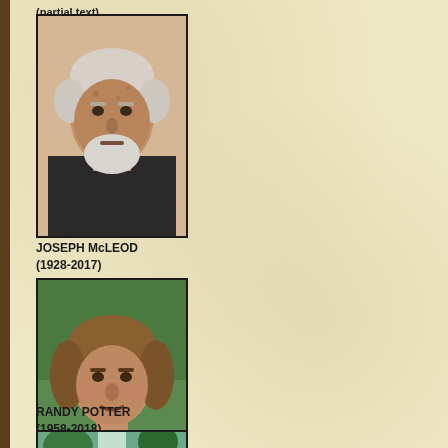(partial text cut off at top)
[Figure (photo): Portrait photo of elderly man with white hair and beard, wearing dark sweater — Joseph McLeod]
JOSEPH McLEOD
(1928-2017)
[Figure (photo): Portrait photo of middle-aged man with medium-length brown hair wearing a blue shirt over red t-shirt — Randy Potter]
RANDY POTTER
(1958-2018)
[Figure (photo): Partial portrait photo at bottom of page, appears to show a person outdoors near water]